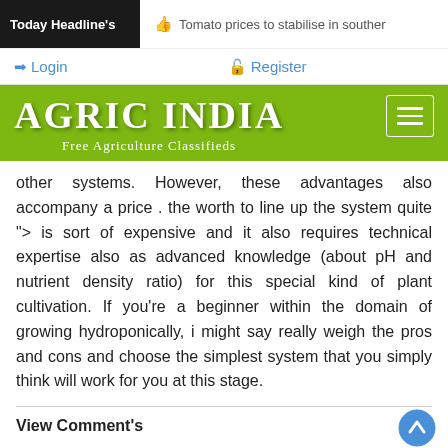Today Headline's
Tomato prices to stabilise in souther
Login   Register
AGRIC INDIA
Free Agriculture Classifieds
other systems. However, these advantages also accompany a price . the worth to line up the system quite "> is sort of expensive and it also requires technical expertise also as advanced knowledge (about pH and nutrient density ratio) for this special kind of plant cultivation. If you're a beginner within the domain of growing hydroponically, i might say really weigh the pros and cons and choose the simplest system that you simply think will work for you at this stage.
View Comment's